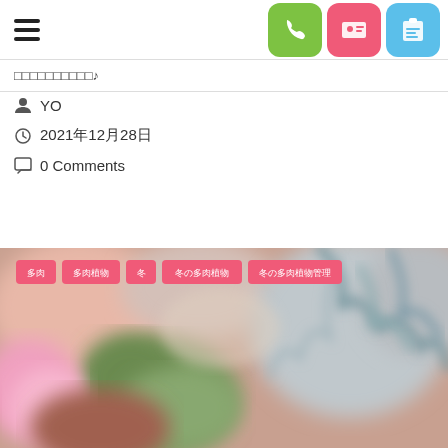☰  [phone icon] [contact icon] [clipboard icon]
□□□□□□□□□□♪
👤 YO
🕐 2021年12月28日
💬 0 Comments
[Figure (photo): Close-up blurry photo of colorful succulent plants with pink, green, and coral tones. Pink category tag buttons overlay the top-left of the image reading: 多肉, 多肉植物, 冬, 冬の多肉植物, 冬の多肉植物管理]